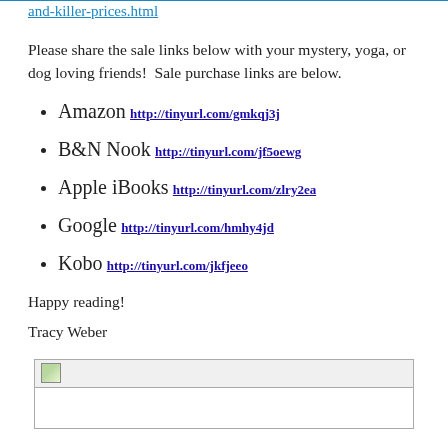and-killer-prices.html
Please share the sale links below with your mystery, yoga, or dog loving friends!  Sale purchase links are below.
Amazon http://tinyurl.com/gmkqj3j
B&N Nook http://tinyurl.com/jf5oewg
Apple iBooks http://tinyurl.com/zlry2ea
Google http://tinyurl.com/hmhy4jd
Kobo http://tinyurl.com/jkfjeeo
Happy reading!
Tracy Weber
[Figure (other): Image placeholder box with icon at top-left and empty white content area below]